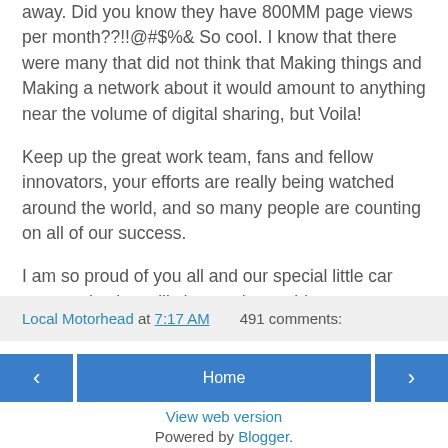away. Did you know they have 800MM page views per month??!!@#$%& So cool. I know that there were many that did not think that Making things and Making a network about it would amount to anything near the volume of digital sharing, but Voila!
Keep up the great work team, fans and fellow innovators, your efforts are really being watched around the world, and so many people are counting on all of our success.
I am so proud of you all and our special little car community that will change the world.
Local Motorhead at 7:17 AM    491 comments:
Home
View web version
Powered by Blogger.